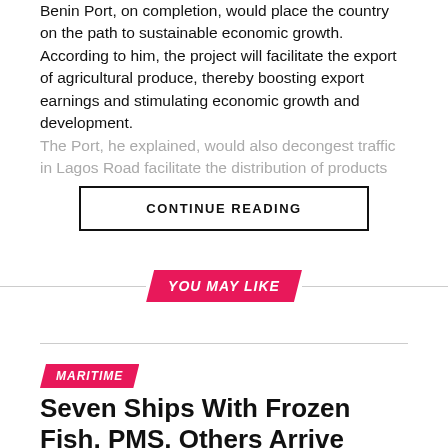Benin Port, on completion, would place the country on the path to sustainable economic growth.
According to him, the project will facilitate the export of agricultural produce, thereby boosting export earnings and stimulating economic growth and development.
The Port, he explained, would also decongest traffic in Lagos Road facilitate the distribution of products
CONTINUE READING
YOU MAY LIKE
MARITIME
Seven Ships With Frozen Fish, PMS, Others Arrive Eastern Ports, Today